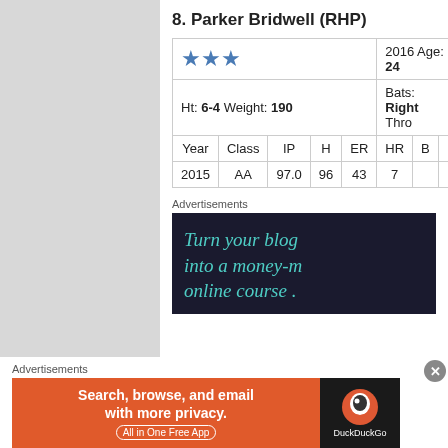8. Parker Bridwell (RHP)
| ★★★ | 2016 Age: 24 |
| --- | --- |
| Ht: 6-4 Weight: 190 | Bats: Right Thro |
| Year | Class | IP | H | ER | HR | B |  |
| 2015 | AA | 97.0 | 96 | 43 | 7 |  |  |
Advertisements
[Figure (screenshot): Dark advertisement banner: 'Turn your blog into a money-m... online course']
Advertisements
[Figure (screenshot): DuckDuckGo ad banner: 'Search, browse, and email with more privacy. All in One Free App']